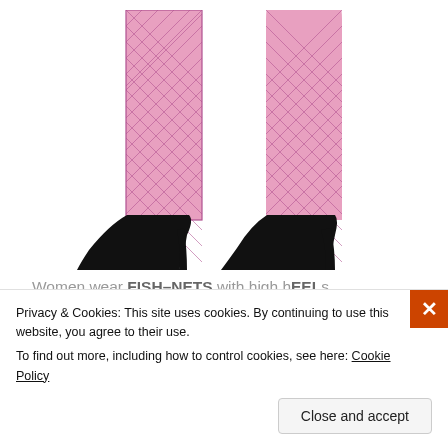[Figure (photo): Woman's legs wearing pink/purple fishnet stockings and black high-heel pumps, cropped at upper thigh, white background.]
Women wear FISH–NETS with high hEELs.
[Figure (photo): Two smaller thumbnail images: left shows legs in fishnet stockings with lace top, right shows a fluffy blue feathery item.]
Privacy & Cookies: This site uses cookies. By continuing to use this website, you agree to their use.
To find out more, including how to control cookies, see here: Cookie Policy